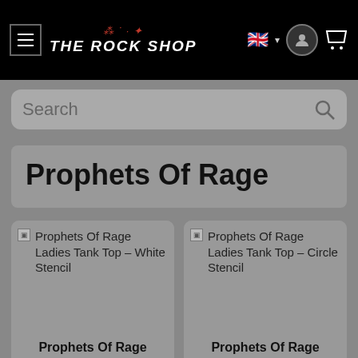THE ROCK SHOP
Search
Prophets Of Rage
[Figure (screenshot): Product image placeholder for Prophets Of Rage Ladies Tank Top - White Stencil]
Prophets Of Rage Ladies' Tank Top - White Stencil
starting from € 14,99*
[Figure (screenshot): Product image placeholder for Prophets Of Rage Ladies Tank Top - Circle Stencil]
Prophets Of Rage Ladies' Tank Top - Circle Stencil
starting from € 14,99*